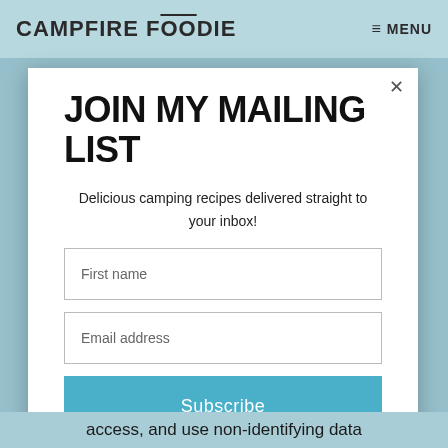CAMPFIRE FOODIE  ≡ MENU
JOIN MY MAILING LIST
Delicious camping recipes delivered straight to your inbox!
First name
Email address
Subscribe
access, and use non-identifying data